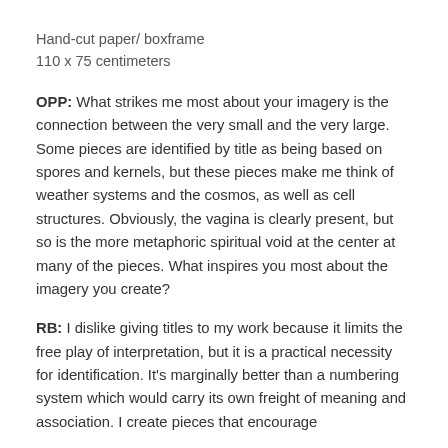Hand-cut paper/ boxframe
110 x 75 centimeters
OPP: What strikes me most about your imagery is the connection between the very small and the very large. Some pieces are identified by title as being based on spores and kernels, but these pieces make me think of weather systems and the cosmos, as well as cell structures. Obviously, the vagina is clearly present, but so is the more metaphoric spiritual void at the center at many of the pieces. What inspires you most about the imagery you create?
RB: I dislike giving titles to my work because it limits the free play of interpretation, but it is a practical necessity for identification. It’s marginally better than a numbering system which would carry its own freight of meaning and association. I create pieces that encourage